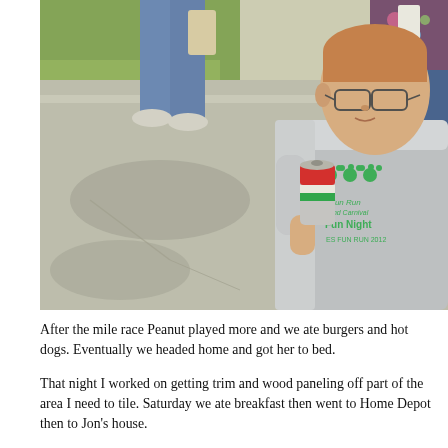[Figure (photo): A young boy wearing glasses and a gray 'Fun Run and Carnival Fun Night' t-shirt drinks from a can (appears to be a soda can). He is standing on a paved area outdoors. In the background, two adults are visible from the waist down — one wearing jeans and sneakers, another in jeans with a floral top. Green grass and a sidewalk/curb are visible in the background.]
After the mile race Peanut played more and we ate burgers and hot dogs. Eventually we headed home and got her to bed.
That night I worked on getting trim and wood paneling off part of the area I need to tile. Saturday we ate breakfast then went to Home Depot then to Jon's house.